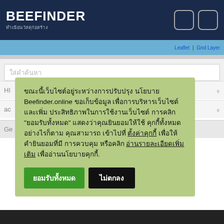BEEFINDER
ทำเนียนวัสดุก่อสร้าง
[Figure (screenshot): Two rounded square icon buttons in the header]
Leaflet | Gnd Layer
ใส่คำค้นหา
HI
ac
Ge
ขณะนี้เว็บไซต์อยู่ระหว่างการปรับปรุงนโยบาย Beefinder.online ขอเก็บข้อมูลเพื่อการบริหารเว็บไซต์ และเพิ่มประสิทธิภาพในการใช้งานเว็บไซต์ การคลิก "ยอมรับทั้งหมด" แสดงว่าคุณยินยอมให้ใช้คุกกี้ทั้งหมด อย่างไรก็ตาม คุณสามารถเข้าไปที่ ตั้งค่าคุกกี้ เพื่อให้คำยินยอมที่มีการควบคุม หรือคลิก อ่านรายละเอียดเพิ่มเติม เพื่ออ่านนโยบายคุกกี้.
ยอมรับทั้งหมด
ไม่ตกลง